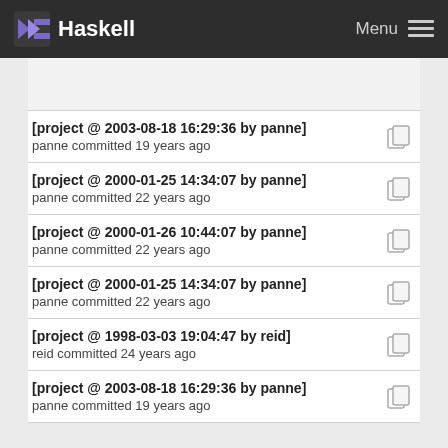Haskell  Menu
[project @ 2003-08-18 16:29:36 by panne]
panne committed 19 years ago
[project @ 2000-01-25 14:34:07 by panne]
panne committed 22 years ago
[project @ 2000-01-26 10:44:07 by panne]
panne committed 22 years ago
[project @ 2000-01-25 14:34:07 by panne]
panne committed 22 years ago
[project @ 1998-03-03 19:04:47 by reid]
reid committed 24 years ago
[project @ 2003-08-18 16:29:36 by panne]
panne committed 19 years ago